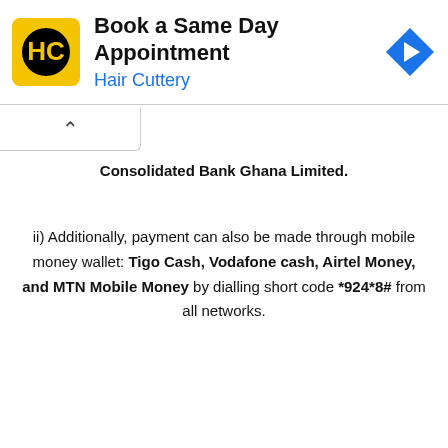[Figure (screenshot): Advertisement banner for Hair Cuttery: Book a Same Day Appointment, with HC logo in yellow square and blue navigation arrow icon]
Consolidated Bank Ghana Limited.
ii) Additionally, payment can also be made through mobile money wallet: Tigo Cash, Vodafone cash, Airtel Money, and MTN Mobile Money by dialling short code *924*8# from all networks.